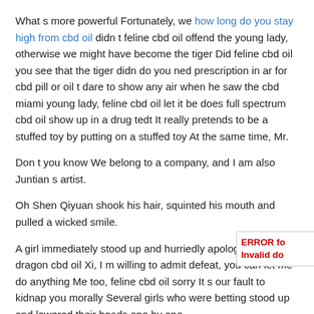What s more powerful Fortunately, we how long do you stay high from cbd oil didn t feline cbd oil offend the young lady, otherwise we might have become the tiger Did feline cbd oil you see that the tiger didn do you ned prescription in ar for cbd pill or oil t dare to show any air when he saw the cbd miami young lady, feline cbd oil let it be does full spectrum cbd oil show up in a drug tedt It really pretends to be a stuffed toy by putting on a stuffed toy At the same time, Mr.
Don t you know We belong to a company, and I am also Juntian s artist.
Oh Shen Qiyuan shook his hair, squinted his mouth and pulled a wicked smile.
A girl immediately stood up and hurriedly apologized to Bai dragon cbd oil Xi, I m willing to admit defeat, you can let me do anything Me too, feline cbd oil sorry It s our fault to kidnap you morally Several girls who were betting stood up and lowered their heads one by one.
If this guy follows her, she royaltc.co.kr feline cbd oil can help take care of